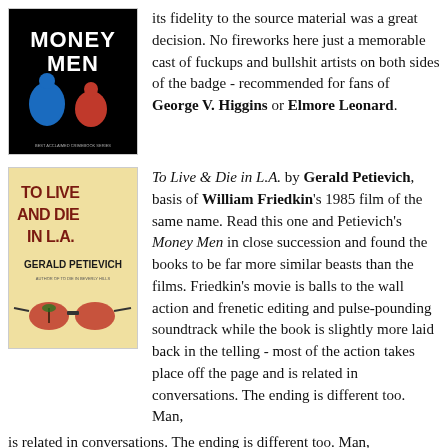[Figure (illustration): Book cover of 'Money Men' with dark background, stylized figures in blue and red]
its fidelity to the source material was a great decision. No fireworks here just a memorable cast of fuckups and bullshit artists on both sides of the badge - recommended for fans of George V. Higgins or Elmore Leonard.
[Figure (illustration): Book cover of 'To Live and Die in L.A.' by Gerald Petievich, yellowish background with large red text and sunglasses image at bottom]
To Live & Die in L.A. by Gerald Petievich, basis of William Friedkin's 1985 film of the same name. Read this one and Petievich's Money Men in close succession and found the books to be far more similar beasts than the films. Friedkin's movie is balls to the wall action and frenetic editing and pulse-pounding soundtrack while the book is slightly more laid back in the telling - most of the action takes place off the page and is related in conversations. The ending is different too. Man,
the comic is in a collision what the should but only for